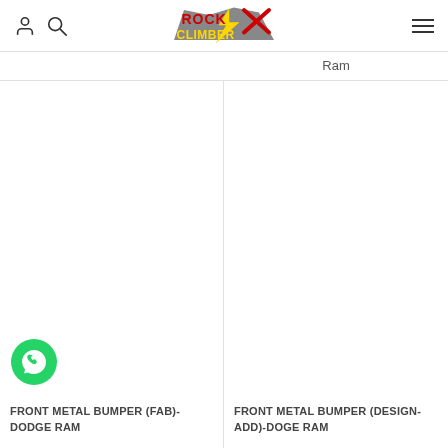Rock Climber — navigation header with user icon, search icon, logo, and hamburger menu
Ram
[Figure (photo): Product image area for FRONT METAL BUMPER (FAB)-Dodge Ram, image not loaded]
FRONT METAL BUMPER (FAB)-Dodge Ram
[Figure (photo): Product image area for FRONT METAL BUMPER (DESIGN-ADD)-Doge Ram, image not loaded]
FRONT METAL BUMPER (DESIGN-ADD)-Doge Ram
[Figure (logo): WhatsApp contact button — green circular WhatsApp icon]